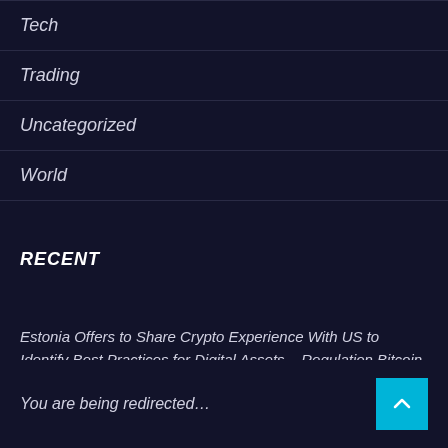Tech
Trading
Uncategorized
World
RECENT
Estonia Offers to Share Crypto Experience With US to Identify Best Practices for Digital Assets – Regulation Bitcoin News
You are being redirected…